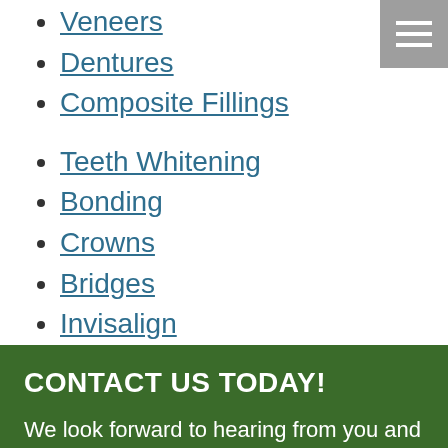Veneers
Dentures
Composite Fillings
Teeth Whitening
Bonding
Crowns
Bridges
Invisalign
CONTACT US TODAY!
We look forward to hearing from you and answering any questions you may have.
2920 Professional Pkwy